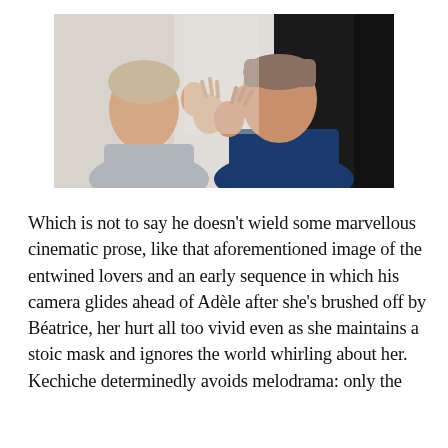[Figure (photo): Two people face each other closely, both with hands raised in an expressive gesture, appearing to be in conversation or argument. One person on the left wears a light grey top, the other on the right wears a dark navy blue top with short hair.]
Which is not to say he doesn't wield some marvellous cinematic prose, like that aforementioned image of the entwined lovers and an early sequence in which his camera glides ahead of Adèle after she's brushed off by Béatrice, her hurt all too vivid even as she maintains a stoic mask and ignores the world whirling about her. Kechiche determinedly avoids melodrama: only the